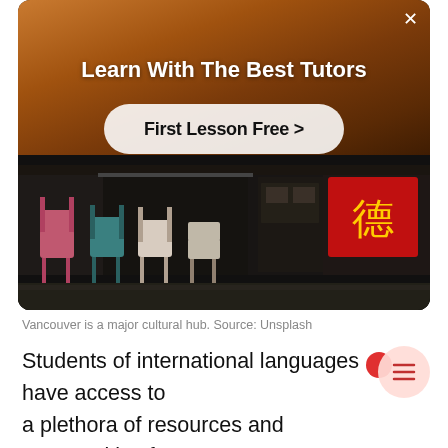[Figure (screenshot): Advertisement overlay showing a tutor in warm background with 'Learn With The Best Tutors' headline and 'First Lesson Free >' call-to-action button, followed by a photo of chairs outside a storefront in an Asian neighborhood]
Vancouver is a major cultural hub. Source: Unsplash
Students of international languages have access to a plethora of resources and communities from a vast array of communities and institutions. Whether